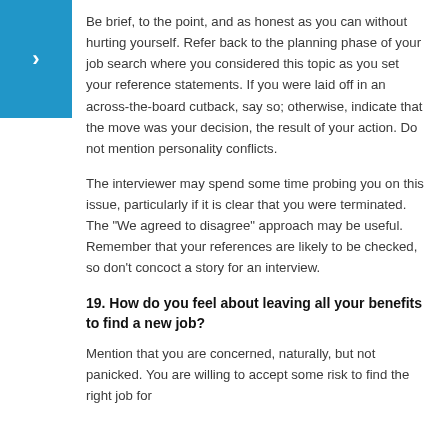Be brief, to the point, and as honest as you can without hurting yourself. Refer back to the planning phase of your job search where you considered this topic as you set your reference statements. If you were laid off in an across-the-board cutback, say so; otherwise, indicate that the move was your decision, the result of your action. Do not mention personality conflicts.
The interviewer may spend some time probing you on this issue, particularly if it is clear that you were terminated. The "We agreed to disagree" approach may be useful. Remember that your references are likely to be checked, so don't concoct a story for an interview.
19. How do you feel about leaving all your benefits to find a new job?
Mention that you are concerned, naturally, but not panicked. You are willing to accept some risk to find the right job for